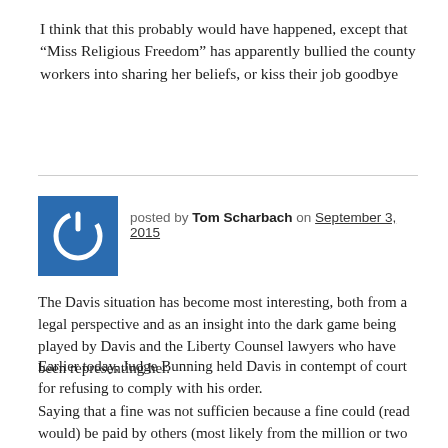I think that this probably would have happened, except that “Miss Religious Freedom” has apparently bullied the county workers into sharing her beliefs, or kiss their job goodbye
posted by Tom Scharbach on September 3, 2015
[Figure (logo): Blue square avatar with white power button / circular arrow icon]
The Davis situation has become most interesting, both from a legal perspective and as an insight into the dark game being played by Davis and the Liberty Counsel lawyers who have been representing her.
Earlier today, Judge Bunning held Davis in contempt of court for refusing to comply with his order.
Saying that a fine was not sufficien because a fine could (read would) be paid by others (most likely from the million or two she’ll collect from “fund